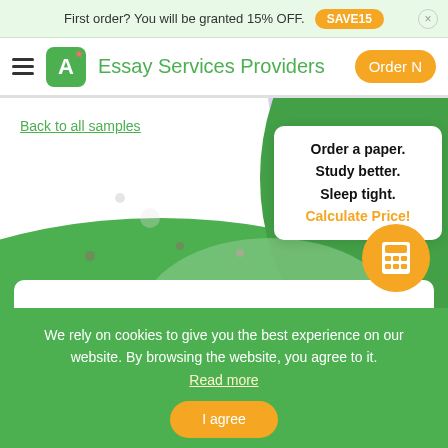First order? You will be granted 15% OFF. SAVE15 ×
≡ A+ Essay Services Providers Order N
Back to all samples
[Figure (screenshot): Hero banner with decorative green curves, purple diagonal stripe, and scattered colored dots on white background]
Order a paper. Study better. Sleep tight. Calculate Price!
We rely on cookies to give you the best experience on our website. By browsing the website, you agree to it. Read more
I agree